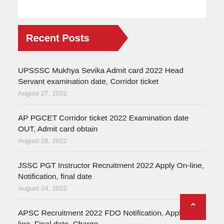Recent Posts
UPSSSC Mukhya Sevika Admit card 2022 Head Servant examination date, Corridor ticket
August 27, 2022
AP PGCET Corridor ticket 2022 Examination date OUT, Admit card obtain
August 26, 2022
JSSC PGT Instructor Recruitment 2022 Apply On-line, Notification, final date
August 24, 2022
APSC Recruitment 2022 FDO Notification, Apply On-line, Final date, Charge